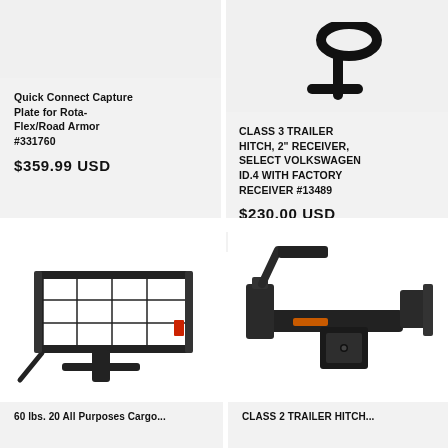[Figure (photo): Product image area for Quick Connect Capture Plate - partially visible at top]
[Figure (photo): Product image for CLASS 3 TRAILER HITCH - black hitch hook visible at top]
Quick Connect Capture Plate for Rota-Flex/Road Armor #331760
$359.99 USD
CLASS 3 TRAILER HITCH, 2" RECEIVER, SELECT VOLKSWAGEN ID.4 WITH FACTORY RECEIVER #13489
$230.00 USD
[Figure (photo): Black steel mesh cargo carrier/basket tray with hitch mount]
[Figure (photo): Black trailer hitch receiver with mounting brackets]
Partially visible product title bottom left
Partially visible product title bottom right